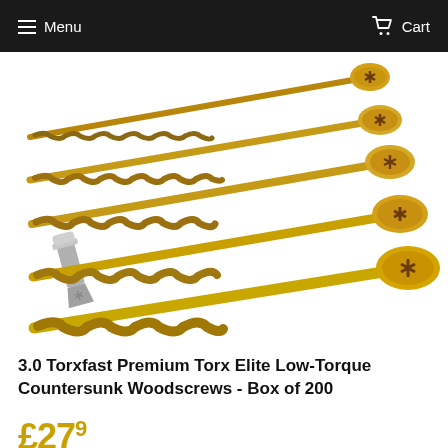Menu  Cart
[Figure (photo): Five gold/yellow zinc-plated Torx countersunk woodscrews fanned out diagonally from lower-left to upper-right, alongside a grey Torx screwdriver bit, on a white background.]
3.0 Torxfast Premium Torx Elite Low-Torque Countersunk Woodscrews - Box of 200
£279